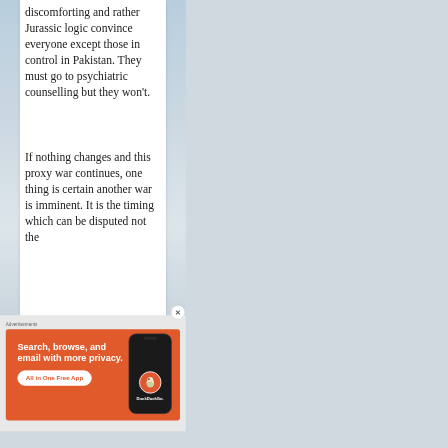discomforting and rather Jurassic logic convince everyone except those in control in Pakistan. They must go to psychiatric counselling but they won't.
If nothing changes and this proxy war continues, one thing is certain another war is imminent. It is the timing which can be disputed not the
Advertisements
[Figure (illustration): DuckDuckGo advertisement banner on orange background. Shows text 'Search, browse, and email with more privacy. All in One Free App' with a smartphone mockup displaying the DuckDuckGo duck logo and brand name.]